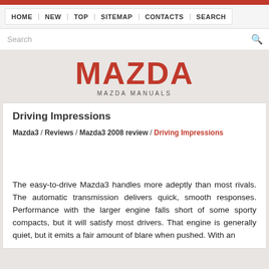HOME | NEW | TOP | SITEMAP | CONTACTS | SEARCH
MAZDA - MAZDA MANUALS
Driving Impressions
Mazda3 / Reviews / Mazda3 2008 review / Driving Impressions
The easy-to-drive Mazda3 handles more adeptly than most rivals. The automatic transmission delivers quick, smooth responses. Performance with the larger engine falls short of some sporty compacts, but it will satisfy most drivers. That engine is generally quiet, but it emits a fair amount of blare when pushed. With an